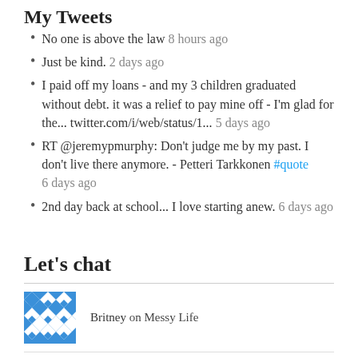My Tweets
No one is above the law 8 hours ago
Just be kind. 2 days ago
I paid off my loans - and my 3 children graduated without debt. it was a relief to pay mine off - I'm glad for the... twitter.com/i/web/status/1... 5 days ago
RT @jeremypmurphy: Don't judge me by my past. I don't live there anymore. - Petteri Tarkkonen #quote 6 days ago
2nd day back at school... I love starting anew. 6 days ago
Let's chat
Britney on Messy Life
Linda Bloom on A Year Into This